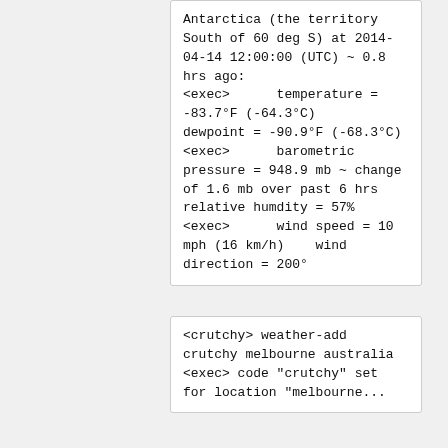Antarctica (the territory South of 60 deg S) at 2014-04-14 12:00:00 (UTC) ~ 0.8 hrs ago:
<exec>      temperature = -83.7°F (-64.3°C)
dewpoint = -90.9°F (-68.3°C)
<exec>      barometric pressure = 948.9 mb ~ change of 1.6 mb over past 6 hrs    relative humdity = 57%
<exec>      wind speed = 10 mph (16 km/h)    wind direction = 200°
<crutchy> weather-add crutchy melbourne australia
<exec> code "crutchy" set for location "melbourne...